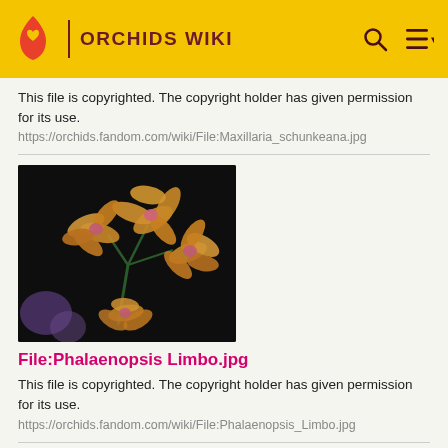ORCHIDS WIKI
This file is copyrighted. The copyright holder has given permission for its use.
https://orchids.fandom.com/wiki/File:Maxillaria_schunkeana.jpg
[Figure (photo): Photo of orange/yellow Phalaenopsis Limbo orchid flowers against a dark background]
File:Phalaenopsis Limbo.jpg
This file is copyrighted. The copyright holder has given permission for its use.
https://orchids.fandom.com/wiki/File:Phalaenopsis_Limbo.jpg
[Figure (photo): Partial photo of another orchid at the bottom of the page]